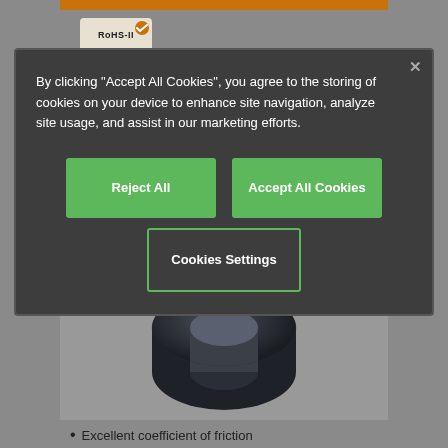[Figure (screenshot): Cookie consent modal dialog overlay on a product page showing a dark gray modal with text about cookie usage, three buttons: Reject All, Accept All Cookies, and Cookies Settings, over a background showing a RoHS-II badge and a dark ring/bushing product image]
By clicking "Accept All Cookies", you agree to the storing of cookies on your device to enhance site navigation, analyze site usage, and assist in our marketing efforts.
Reject All
Accept All Cookies
Cookies Settings
[Figure (photo): Dark gray/black cylindrical ring or bushing component viewed at an angle showing a hollow cylindrical shape]
Excellent coefficient of friction